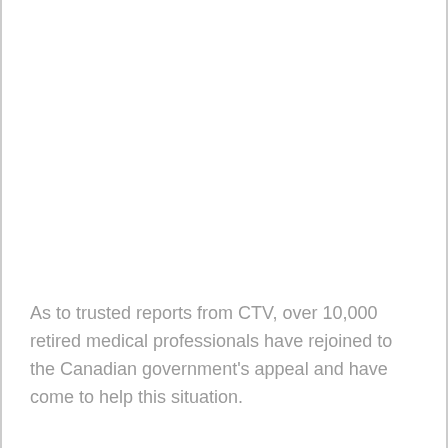As to trusted reports from CTV, over 10,000 retired medical professionals have rejoined to the Canadian government's appeal and have come to help this situation.